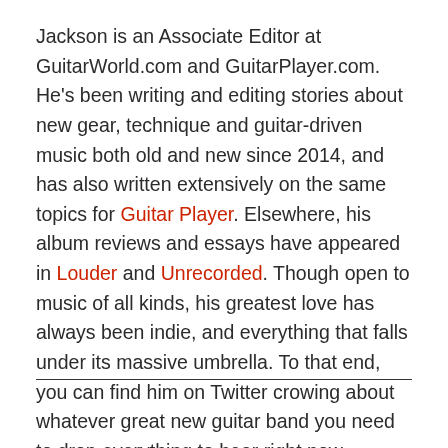Jackson is an Associate Editor at GuitarWorld.com and GuitarPlayer.com. He's been writing and editing stories about new gear, technique and guitar-driven music both old and new since 2014, and has also written extensively on the same topics for Guitar Player. Elsewhere, his album reviews and essays have appeared in Louder and Unrecorded. Though open to music of all kinds, his greatest love has always been indie, and everything that falls under its massive umbrella. To that end, you can find him on Twitter crowing about whatever great new guitar band you need to drop everything to hear right now.